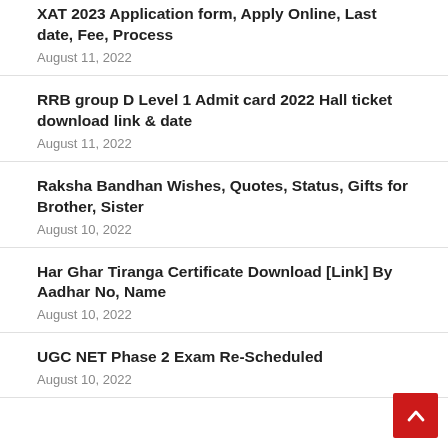XAT 2023 Application form, Apply Online, Last date, Fee, Process
August 11, 2022
RRB group D Level 1 Admit card 2022 Hall ticket download link & date
August 11, 2022
Raksha Bandhan Wishes, Quotes, Status, Gifts for Brother, Sister
August 10, 2022
Har Ghar Tiranga Certificate Download [Link] By Aadhar No, Name
August 10, 2022
UGC NET Phase 2 Exam Re-Scheduled
August 10, 2022